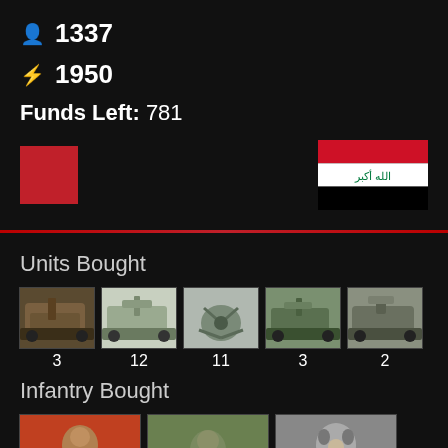🧍 1337
⚡ 1950
Funds Left: 781
[Figure (other): Red square color swatch on left, Iraqi flag on right]
Units Bought
[Figure (photo): 5 military vehicle unit thumbnails with counts: 3, 12, 11, 3, 2]
Infantry Bought
[Figure (photo): 3 infantry unit thumbnails with counts: 53, 4, 9]